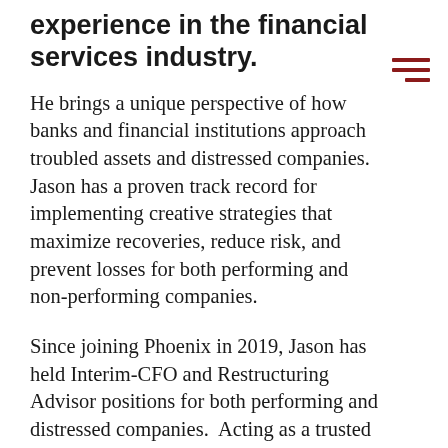experience in the financial services industry.
He brings a unique perspective of how banks and financial institutions approach troubled assets and distressed companies. Jason has a proven track record for implementing creative strategies that maximize recoveries, reduce risk, and prevent losses for both performing and non-performing companies.
Since joining Phoenix in 2019, Jason has held Interim-CFO and Restructuring Advisor positions for both performing and distressed companies.  Acting as a trusted advisor, he provides strategic and in-depth experience with financial forecasting, crisis management, strategic advisory, financial analysis, financial